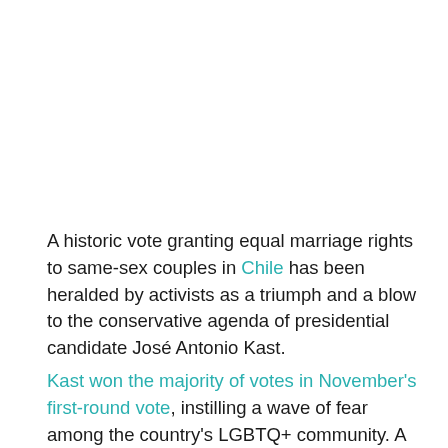A historic vote granting equal marriage rights to same-sex couples in Chile has been heralded by activists as a triumph and a blow to the conservative agenda of presidential candidate José Antonio Kast.
Kast won the majority of votes in November's first-round vote, instilling a wave of fear among the country's LGBTQ+ community. A tight runoff between Kast and his progressive opponent, former student protest leader Gabriel Boric, is scheduled on 19 December.